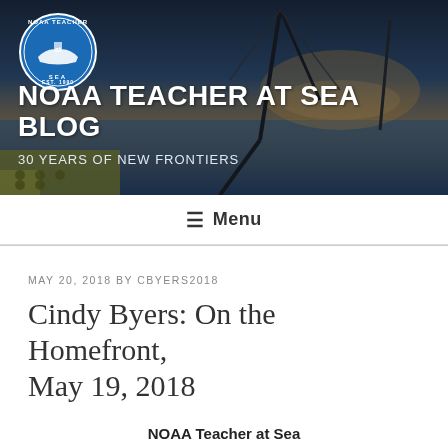[Figure (photo): NOAA Teacher at Sea blog header banner with a ship deck photo at sunset/dusk, with equipment and masts visible. Dark blue overlay tones.]
NOAA TEACHER AT SEA BLOG
30 YEARS of NEW FRONTIERS
≡ Menu
MAY 20, 2018 BY CBYERS2018
Cindy Byers: On the Homefront, May 19, 2018
NOAA Teacher at Sea
Cindy Byers